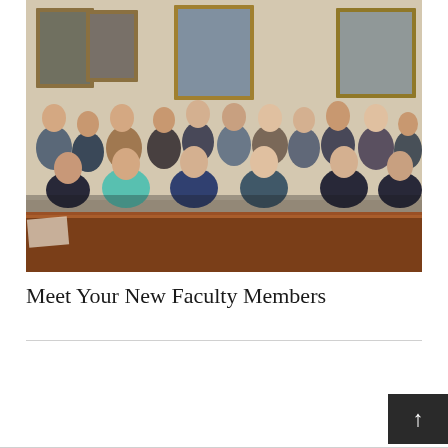[Figure (photo): Group photo of new faculty members seated and standing in rows in a wood-paneled room with portrait paintings on the wall and a long wooden conference table in the foreground. Approximately 20 people, mixture of men and women.]
Meet Your New Faculty Members